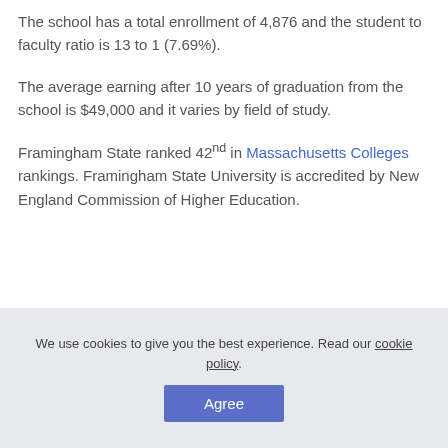The school has a total enrollment of 4,876 and the student to faculty ratio is 13 to 1 (7.69%).
The average earning after 10 years of graduation from the school is $49,000 and it varies by field of study.
Framingham State ranked 42nd in Massachusetts Colleges rankings. Framingham State University is accredited by New England Commission of Higher Education.
We use cookies to give you the best experience. Read our cookie policy.